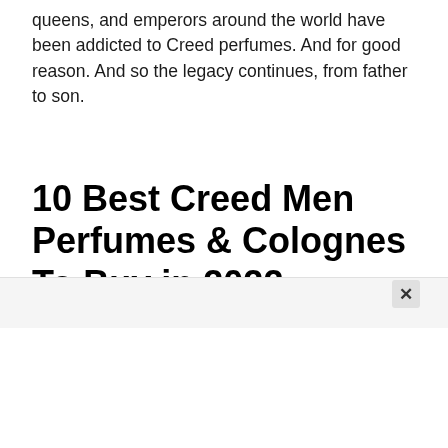queens, and emperors around the world have been addicted to Creed perfumes. And for good reason. And so the legacy continues, from father to son.
10 Best Creed Men Perfumes & Colognes To Buy in 2022